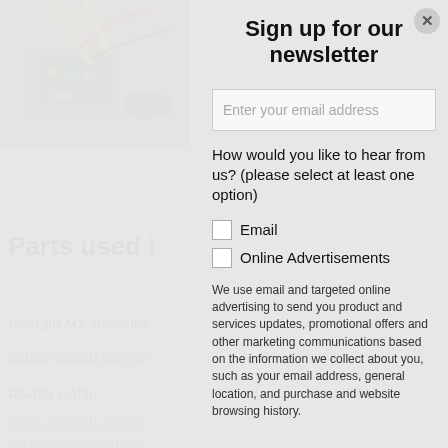[Figure (photo): Photo of a robotic or electronic device with green circuit board, motor, yellow rods/tubes, and red/black wires on a wooden floor surface.]
Parts used i
GasLab MX Sensors:
https://gaslab.com/se
RS485 Cable:
https://gaslab.com/pr sensor-development
Sign up for our newsletter
Enter your email address
How would you like to hear from us? (please select at least one option)
Email
Online Advertisements
We use email and targeted online advertising to send you product and services updates, promotional offers and other marketing communications based on the information we collect about you, such as your email address, general location, and purchase and website browsing history.